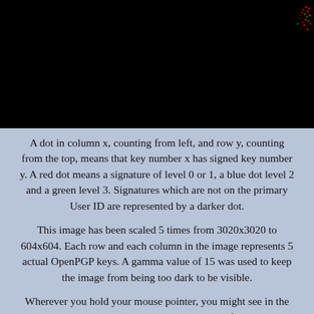[Figure (scatter-plot): A mostly black image representing an OpenPGP key signing graph, with small red/green dots visible in the upper-right corner area.]
A dot in column x, counting from left, and row y, counting from the top, means that key number x has signed key number y. A red dot means a signature of level 0 or 1, a blue dot level 2 and a green level 3. Signatures which are not on the primary User ID are represented by a darker dot.
This image has been scaled 5 times from 3020x3020 to 604x604. Each row and each column in the image represents 5 actual OpenPGP keys. A gamma value of 15 was used to keep the image from being too dark to be visible.
Wherever you hold your mouse pointer, you might see in the status bar the MSD and (spam protected) name of the key that is signed by the the signature you are pointing at. Or you might not. It depends on your browser. This web page has a